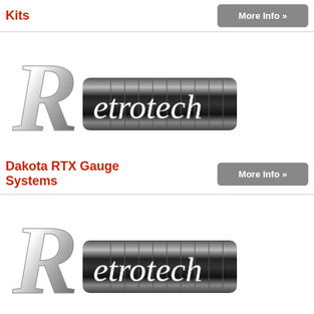Kits
More Info »
[Figure (logo): Retrotech logo with stylized chrome R and dark pill-shaped bar reading 'etrotech']
Dakota RTX Gauge Systems
More Info »
[Figure (logo): Retrotech logo with stylized chrome R and dark pill-shaped bar reading 'etrotech']
Dakota RTX Systems
More Info »
[Figure (logo): Partial Retrotech logo visible at bottom of page]